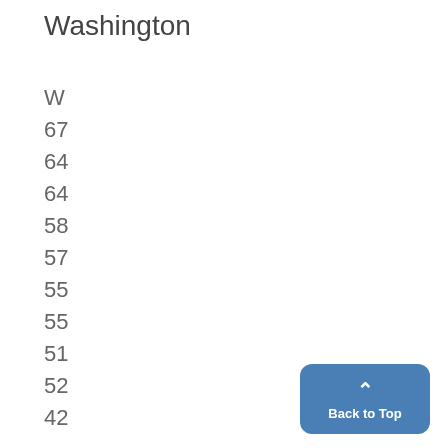Washington
W
67
64
64
58
57
55
55
51
52
42